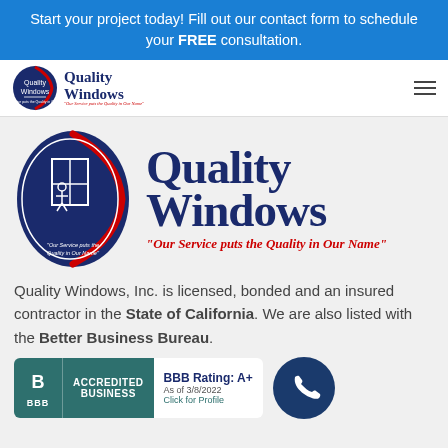Start your project today! Fill out our contact form to schedule your FREE consultation.
[Figure (logo): Quality Windows company logo in navbar - blue oval with window installer illustration and red/white design]
[Figure (logo): Quality Windows large logo - blue oval emblem with window installer, large navy blue serif Quality Windows text, red italic tagline: Our Service puts the Quality in Our Name]
Quality Windows, Inc. is licensed, bonded and an insured contractor in the State of California. We are also listed with the Better Business Bureau.
[Figure (other): BBB Accredited Business badge in teal/green with BBB Rating: A+ as of 3/8/2022, Click for Profile]
[Figure (other): Dark blue circular phone call button icon]